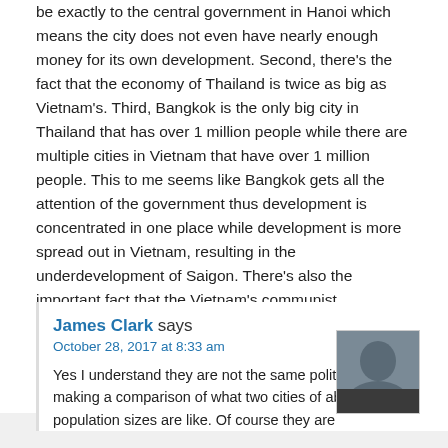be exactly to the central government in Hanoi which means the city does not even have nearly enough money for its own development. Second, there's the fact that the economy of Thailand is twice as big as Vietnam's. Third, Bangkok is the only big city in Thailand that has over 1 million people while there are multiple cities in Vietnam that have over 1 million people. This to me seems like Bangkok gets all the attention of the government thus development is concentrated in one place while development is more spread out in Vietnam, resulting in the underdevelopment of Saigon. There's also the important fact that the Vietnam's communist government is way more corrupt than Thailand's which slows down everything in Vietnam.
Reply
James Clark says
October 28, 2017 at 8:33 am
Yes I understand they are not the same politically. I was making a comparison of what two cities of about equal population sizes are like. Of course they are